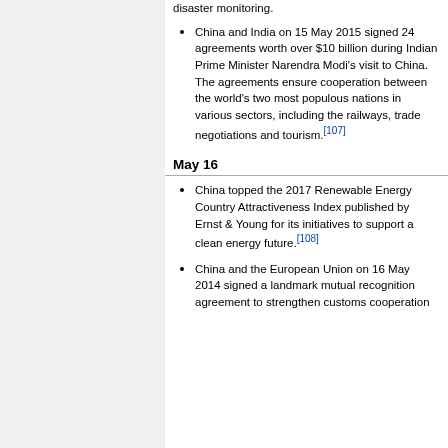China and India on 15 May 2015 signed 24 agreements worth over $10 billion during Indian Prime Minister Narendra Modi's visit to China. The agreements ensure cooperation between the world's two most populous nations in various sectors, including the railways, trade negotiations and tourism.[107]
May 16
China topped the 2017 Renewable Energy Country Attractiveness Index published by Ernst & Young for its initiatives to support a clean energy future.[108]
China and the European Union on 16 May 2014 signed a landmark mutual recognition agreement to strengthen customs cooperation